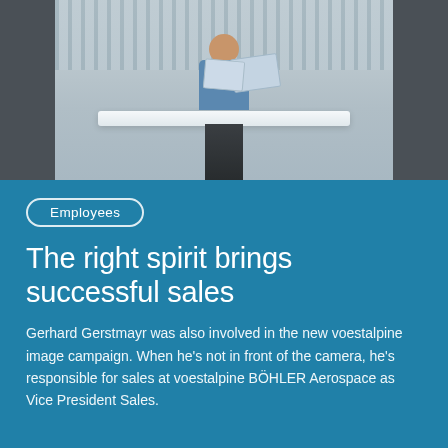[Figure (photo): A man in a blue shirt holding blueprints/documents, standing behind a modern white desk/table in an office environment with grey paneled background]
Employees
The right spirit brings successful sales
Gerhard Gerstmayr was also involved in the new voestalpine image campaign. When he's not in front of the camera, he's responsible for sales at voestalpine BÖHLER Aerospace as Vice President Sales.